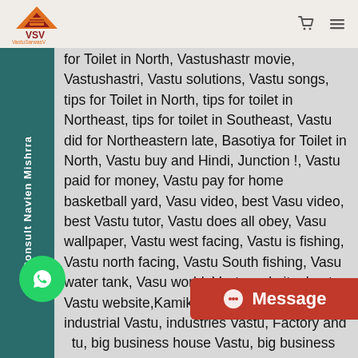VastuSarwasV
for Toilet in North, Vastushastr movie, Vastushastri, Vastu solutions, Vastu songs, tips for Toilet in North, tips for toilet in Northeast, tips for toilet in Southeast, Vastu did for Northeastern late, Basotiya for Toilet in North, Vastu buy and Hindi, Junction !, Vastu paid for money, Vastu pay for home basketball yard, Vasu video, best Vasu video, best Vastu tutor, Vastu does all obey, Vasu wallpaper, Vastu west facing, Vastu is fishing, Vastu north facing, Vastu South fishing, Vasu water tank, Vasu world, Vastu website, best Vastu website,Kamikaze bansal has to, industrial Vastu, industries Vastu, Factory and tu, big business house Vastu, big business house workshop, V Trinity Vastu, Trinity Vaastuvats Rob, Vasu